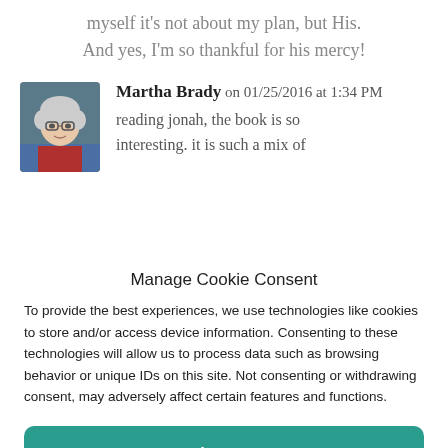myself it's not about my plan, but His. And yes, I'm so thankful for his mercy!
Martha Brady on 01/25/2016 at 1:34 PM
[Figure (photo): Avatar photo of Martha Brady, a woman with short white hair and glasses.]
reading jonah, the book is so interesting. it is such a mix of
Manage Cookie Consent
To provide the best experiences, we use technologies like cookies to store and/or access device information. Consenting to these technologies will allow us to process data such as browsing behavior or unique IDs on this site. Not consenting or withdrawing consent, may adversely affect certain features and functions.
Accept